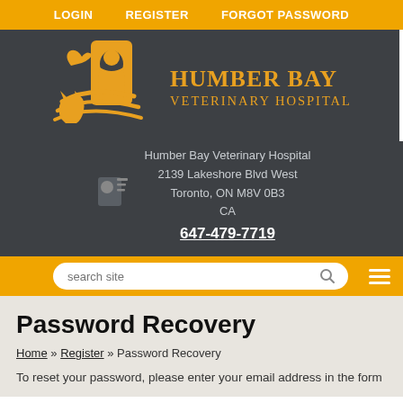LOGIN   REGISTER   FORGOT PASSWORD
[Figure (logo): Humber Bay Veterinary Hospital logo with golden silhouette of dog, cat, and bird with swoosh lines, and gold text 'HUMBER BAY VETERINARY HOSPITAL' on dark background]
Humber Bay Veterinary Hospital
2139 Lakeshore Blvd West
Toronto, ON M8V 0B3
CA
647-479-7719
search site
Password Recovery
Home » Register » Password Recovery
To reset your password, please enter your email address in the form